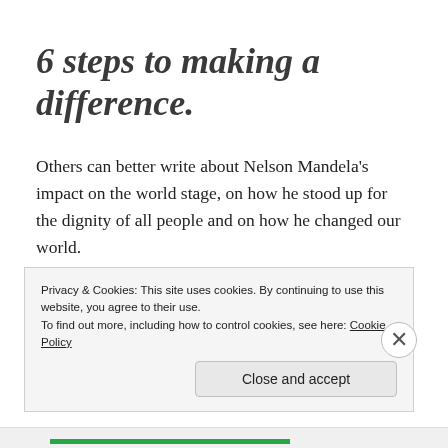6 steps to making a difference.
Others can better write about Nelson Mandela’s impact on the world stage, on how he stood up for the dignity of all people and on how he changed our world.
For those that seek to make a change in the world, whether global or local, what we can learn from his life is
Privacy & Cookies: This site uses cookies. By continuing to use this website, you agree to their use.
To find out more, including how to control cookies, see here: Cookie Policy
Close and accept